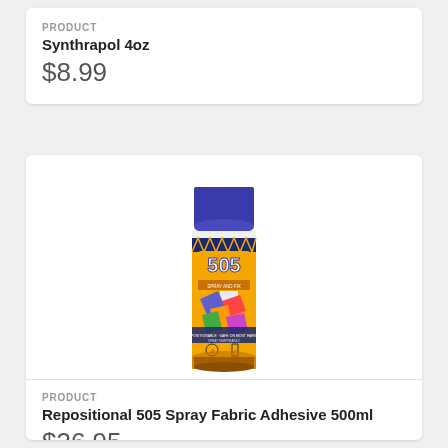PRODUCT
Synthrapol 4oz
$8.99
[Figure (photo): 505 Spray and Fix repositional spray fabric adhesive can, yellow with blue cap]
PRODUCT
Repositional 505 Spray Fabric Adhesive 500ml
$36.95